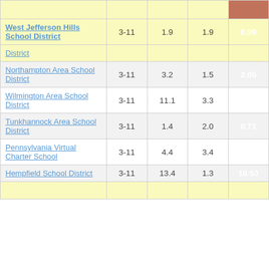| District | Grades | Col3 | Col4 | Col5 |
| --- | --- | --- | --- | --- |
| West Jefferson Hills School District | 3-11 | 1.9 | 1.9 | 0.99 |
| District |  |  |  |  |
| Northampton Area School District | 3-11 | 3.2 | 1.5 | 2.05 |
| Wilmington Area School District | 3-11 | 11.1 | 3.3 | 3.37 |
| Tunkhannock Area School District | 3-11 | 1.4 | 2.0 | 0.71 |
| Pennsylvania Virtual Charter School | 3-11 | 4.4 | 3.4 | 1.31 |
| Hempfield School District | 3-11 | 13.4 | 1.3 | 10.53 |